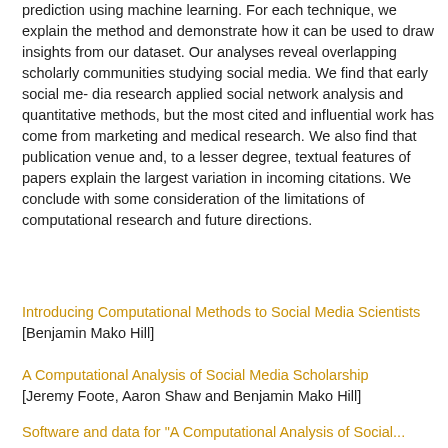prediction using machine learning. For each technique, we explain the method and demonstrate how it can be used to draw insights from our dataset. Our analyses reveal overlapping scholarly communities studying social media. We find that early social me- dia research applied social network analysis and quantitative methods, but the most cited and influential work has come from marketing and medical research. We also find that publication venue and, to a lesser degree, textual features of papers explain the largest variation in incoming citations. We conclude with some consideration of the limitations of computational research and future directions.
Introducing Computational Methods to Social Media Scientists [Benjamin Mako Hill]
A Computational Analysis of Social Media Scholarship [Jeremy Foote, Aaron Shaw and Benjamin Mako Hill]
Software and data for "A Computational Analysis of Social...